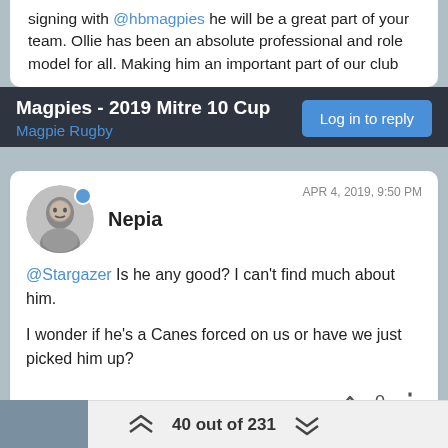signing with @hbmagpies he will be a great part of your team. Ollie has been an absolute professional and role model for all. Making him an important part of our club
Magpies - 2019 Mitre 10 Cup
Magpie Rugby
Log in to reply
Nepia  APR 4, 2019, 9:50 PM
@Stargazer Is he any good? I can't find much about him.

I wonder if he's a Canes forced on us or have we just picked him up?
40 out of 231